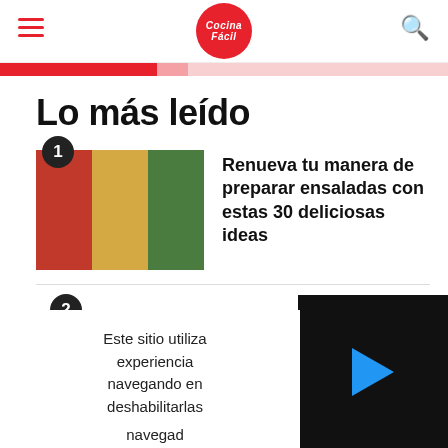Cocina Fácil
[Figure (illustration): Pink/red banner strip]
Lo más leído
[Figure (photo): Three food photos showing salads and dishes, with number badge 1]
Renueva tu manera de preparar ensaladas con estas 30 deliciosas ideas
Este sitio utiliza experiencia navegando en deshabilitarlas navegad
[Figure (screenshot): Black video overlay with blue play button]